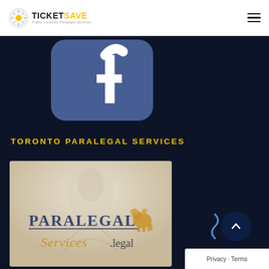TICKET SAVE — Traffic Violation Paralegal Services
[Figure (logo): TicketSave logo with circular emblem and TICKET SAVE text with tagline]
[Figure (illustration): Facebook-style rounded square icon with white 'f' letter on blue background, shown on dark navy background]
TORONTO PARALEGAL SERVICES
[Figure (illustration): Paralegal Services .legal logo card with marble statue background, golden griffin, serif PARALEGAL text and italic Services .legal text]
[Figure (other): Back to top button - dark navy circular button with upward chevron arrow]
Privacy · Terms